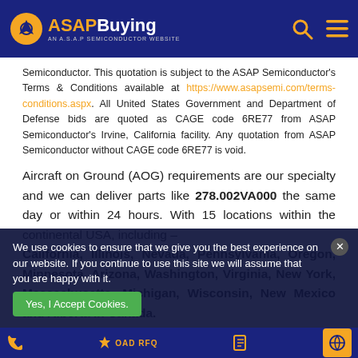ASAP Buying — AN A.S.A.P SEMICONDUCTOR WEBSITE
Semiconductor. This quotation is subject to the ASAP Semiconductor's Terms & Conditions available at https://www.asapsemi.com/terms-conditions.aspx. All United States Government and Department of Defense bids are quoted as CAGE code 6RE77 from ASAP Semiconductor's Irvine, California facility. Any quotation from ASAP Semiconductor without CAGE code 6RE77 is void.
Aircraft on Ground (AOG) requirements are our specialty and we can deliver parts like 278.002VA000 the same day or within 24 hours. With 15 locations within the continental USA, including – California, Illinois, Nevada, Pennsylvania, Oregon, Minnesota, Arizona, Washington, Virginia, New York, Massachusetts, Michigan, Wisconsin, New Mexico and Alberta in Canada. We have unparalleled logistical capabilities. Our inventory has over 10 million unique part numbers from over 5,000 leading suppliers including Other Aircraft Parts. Contact us today to
We use cookies to ensure that we give you the best experience on our website. If you continue to use this site we will assume that you are happy with it.